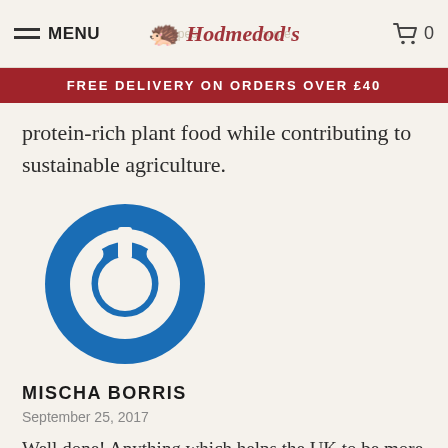MENU  Hodmedod's  0
FREE DELIVERY ON ORDERS OVER £40
protein-rich plant food while contributing to sustainable agriculture.
[Figure (logo): Blue circular power button icon with white power symbol]
MISCHA BORRIS
September 25, 2017
Well done! Anything which helps the UK to be more self-sufficient in food is to be welcomed. Over the last few years there's been an increase in the range of UK grown fruit and vegetables that